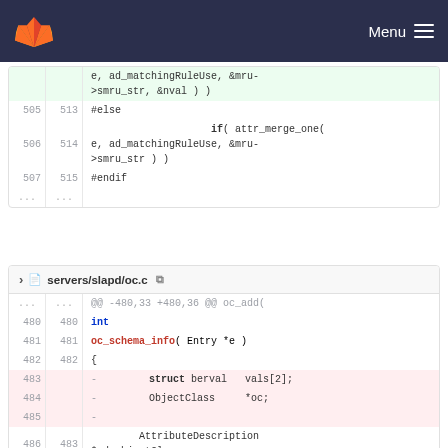Menu
| old_line | new_line | code |
| --- | --- | --- |
|  |  | e, ad_matchingRuleUse, &mru->smru_str, &nval ) ) |
| 505 | 513 | #else |
| 506 | 514 |                     if( attr_merge_one( e, ad_matchingRuleUse, &mru->smru_str ) ) |
| 507 | 515 | #endif |
| ... | ... |  |
servers/slapd/oc.c
| old_line | new_line | code |
| --- | --- | --- |
| ... | ... | @@ -480,33 +480,36 @@ oc_add( |
| 480 | 480 | int |
| 481 | 481 | oc_schema_info( Entry *e ) |
| 482 | 482 | { |
| 483 |  | -        struct berval   vals[2]; |
| 484 |  | -        ObjectClass     *oc; |
| 485 |  | - |
| 486 | 483 |         AttributeDescription *ad_objectClasses = |